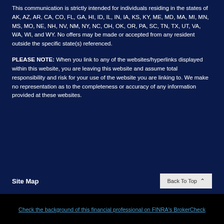This communication is strictly intended for individuals residing in the states of AK, AZ, AR, CA, CO, FL, GA, HI, ID, IL, IN, IA, KS, KY, ME, MD, MA, MI, MN, MS, MO, NE, NH, NV, NM, NY, NC, OH, OK, OR, PA, SC, TN, TX, UT, VA, WA, WI, and WY. No offers may be made or accepted from any resident outside the specific state(s) referenced.
PLEASE NOTE: When you link to any of the websites/hyperlinks displayed within this website, you are leaving this website and assume total responsibility and risk for your use of the website you are linking to. We make no representation as to the completeness or accuracy of any information provided at these websites.
Site Map
Check the background of this financial professional on FINRA's BrokerCheck